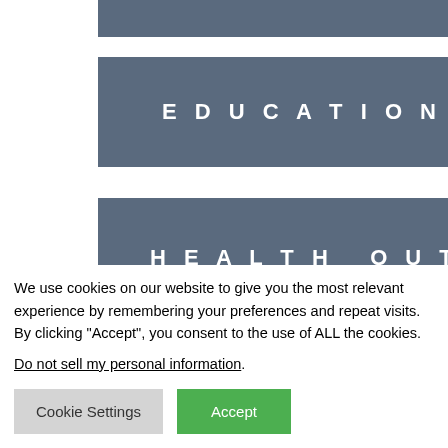[Figure (screenshot): Partial gray navigation button bar cut off at top of page]
EDUCATION
HEALTH OUTREACH
COFFEE PROGRAM
We use cookies on our website to give you the most relevant experience by remembering your preferences and repeat visits. By clicking “Accept”, you consent to the use of ALL the cookies.
Do not sell my personal information.
Cookie Settings
Accept